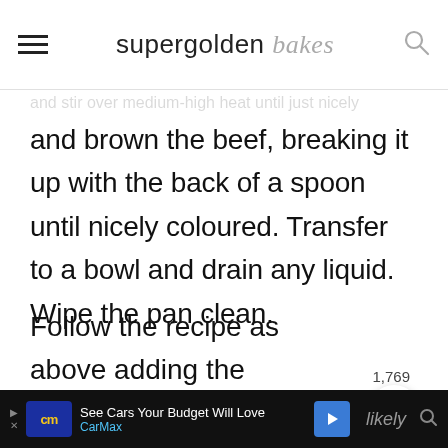supergolden bakes
and brown the beef, breaking it up with the back of a spoon until nicely coloured. Transfer to a bowl and drain any liquid. Wipe the pan clean.
Follow the recipe as above adding the browned mince in with step 6.
[Figure (screenshot): CarMax advertisement bar at bottom: 'See Cars Your Budget Will Love' with CarMax logo and navigation arrow]